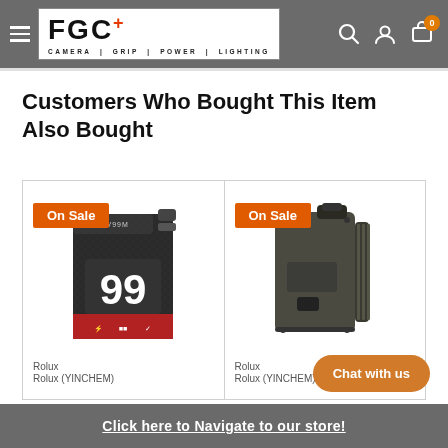[Figure (screenshot): FGC (Film Gear Canada) e-commerce website header with logo, hamburger menu, search, account, and cart icons]
Customers Who Bought This Item Also Bought
[Figure (photo): Product card showing a Rolux battery with 99 label, On Sale badge]
[Figure (photo): Product card showing a Rolux battery adapter/plate, On Sale badge]
Rolux
Rolux (YINCHEM)
Rolux
Rolux (YINCHEM)
Click here to Navigate to our store!